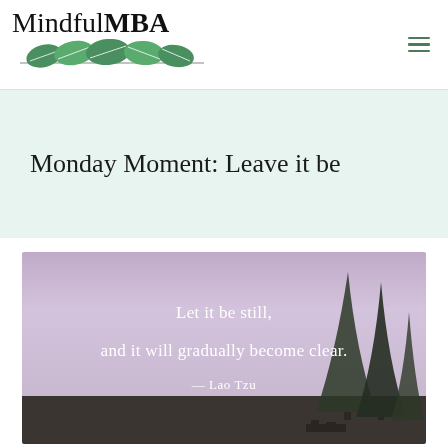MindfulMBA
Monday Moment: Leave it be
[Figure (photo): Misty landscape photo with tall trees on the right side and a purple-grey sky, overlaid with a quote: 'Let it be still, and it will gradually become clear. — Lao Tzu']